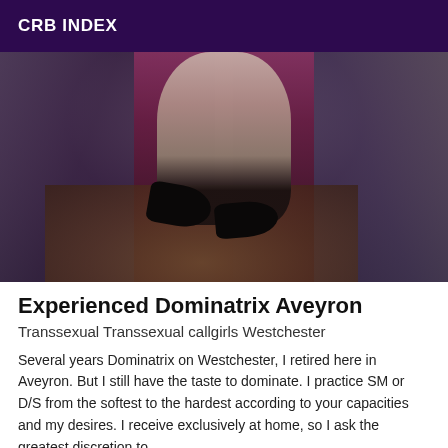CRB INDEX
[Figure (photo): Dark moody photograph showing legs of a person in high heels with purple/magenta fabric and crumpled bedding in the background]
Experienced Dominatrix Aveyron
Transsexual Transsexual callgirls Westchester
Several years Dominatrix on Westchester, I retired here in Aveyron. But I still have the taste to dominate. I practice SM or D/S from the softest to the hardest according to your capacities and my desires. I receive exclusively at home, so I ask the greatest discretion to